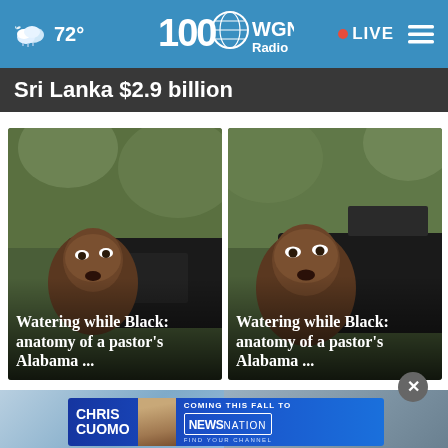72° WGN Radio 100 LIVE
Sri Lanka $2.9 billion
[Figure (photo): Photo of a man's face close up with a vehicle in background, headline overlay: Watering while Black: anatomy of a pastor's Alabama ...]
[Figure (photo): Photo of a man's face close up with a vehicle in background, headline overlay: Watering while Black: anatomy of a pastor's Alabama ...]
[Figure (photo): Chris Cuomo coming this fall to NewsNation advertisement banner]
[Figure (photo): Partial photos at bottom of page]